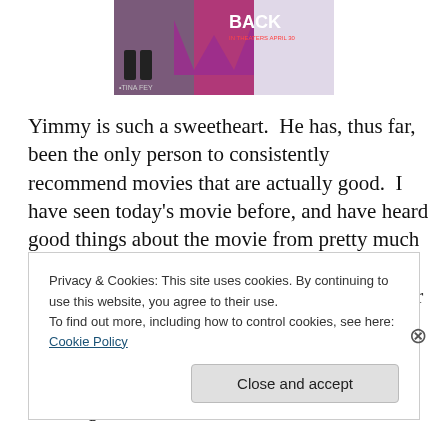[Figure (photo): Movie poster partial view showing 'BACK' text, 'IN THEATERS APRIL 30' and 'TINA FEY' credits, with pink/purple color scheme]
Yimmy is such a sweetheart.  He has, thus far, been the only person to consistently recommend movies that are actually good.  I have seen today's movie before, and have heard good things about the movie from pretty much everybody, but I strangely don't remember thinking that much of it.  It's weird.  The writer is one of my favorite writers ever, and the movie is filled with pretty girls and people I find funny, but I just couldn't remember thinking
Privacy & Cookies: This site uses cookies. By continuing to use this website, you agree to their use.
To find out more, including how to control cookies, see here: Cookie Policy